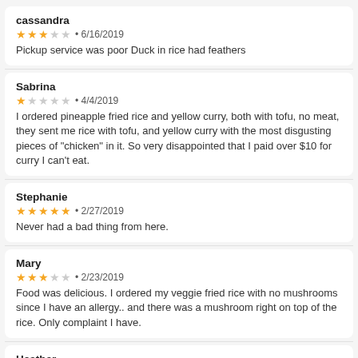cassandra
★★★☆☆ • 6/16/2019
Pickup service was poor Duck in rice had feathers
Sabrina
★☆☆☆☆ • 4/4/2019
I ordered pineapple fried rice and yellow curry, both with tofu, no meat, they sent me rice with tofu, and yellow curry with the most disgusting pieces of "chicken" in it. So very disappointed that I paid over $10 for curry I can't eat.
Stephanie
★★★★★ • 2/27/2019
Never had a bad thing from here.
Mary
★★★☆☆ • 2/23/2019
Food was delicious. I ordered my veggie fried rice with no mushrooms since I have an allergy.. and there was a mushroom right on top of the rice. Only complaint I have.
Heather
★★★★★ • 2/11/2019
Easy to order using this app and food was ready for me as soon as I arrived. Tasted great and big portions of the curry. The panang curry was spicy!